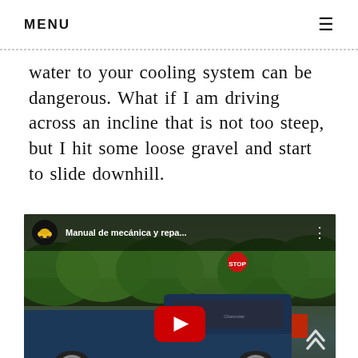MENU
water to your cooling system can be dangerous. What if I am driving across an incline that is not too steep, but I hit some loose gravel and start to slide downhill.
[Figure (screenshot): YouTube video thumbnail showing a lowered blue pickup truck on a road with trees in the background and a stop sign visible. Video title reads 'Manual de mecánica y repa...' with a YouTube play button overlay.]